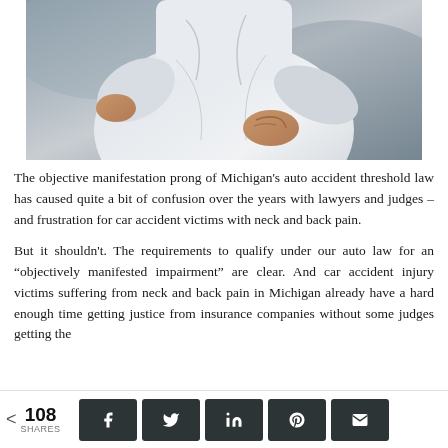[Figure (photo): Person in white dress shirt grabbing their lower back in pain, suggesting back injury]
The objective manifestation prong of Michigan's auto accident threshold law has caused quite a bit of confusion over the years with lawyers and judges – and frustration for car accident victims with neck and back pain.
But it shouldn't. The requirements to qualify under our auto law for an “objectively manifested impairment” are clear. And car accident injury victims suffering from neck and back pain in Michigan already have a hard enough time getting justice from insurance companies without some judges getting the
108 SHARES